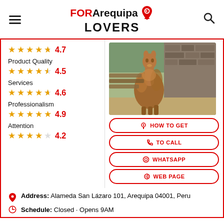FOR Arequipa LOVERS
4.7 (stars)
Product Quality
4.5 (stars)
Services
4.6 (stars)
Professionalism
4.9 (stars)
Attention
4.2 (stars)
[Figure (photo): Photo of a brown alpaca standing in an outdoor pen with a stone wall background]
HOW TO GET
TO CALL
WHATSAPP
WEB PAGE
Address: Alameda San Lázaro 101, Arequipa 04001, Peru
Schedule: Closed · Opens 9AM